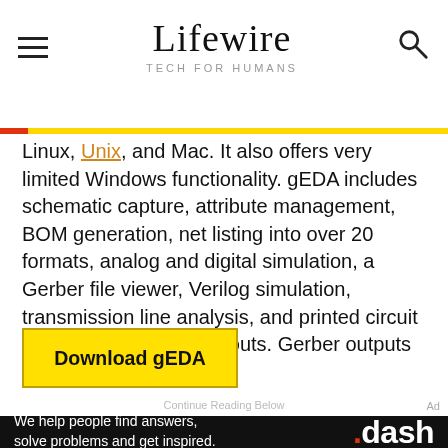Lifewire — TECH FOR HUMANS
Linux, Unix, and Mac. It also offers very limited Windows functionality. gEDA includes schematic capture, attribute management, BOM generation, net listing into over 20 formats, analog and digital simulation, a Gerber file viewer, Verilog simulation, transmission line analysis, and printed circuit board (PCB) design layouts. Gerber outputs are also supported.
Download gEDA
[Figure (other): Dash advertisement banner: 'We help people find answers, solve problems and get inspired. .dash']